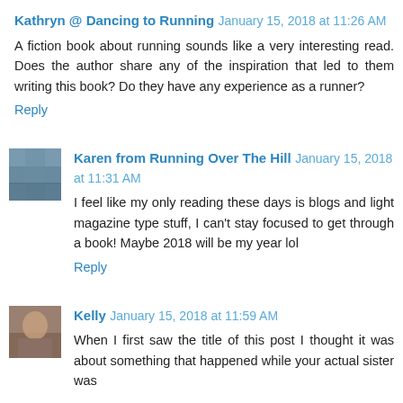Kathryn @ Dancing to Running January 15, 2018 at 11:26 AM
A fiction book about running sounds like a very interesting read. Does the author share any of the inspiration that led to them writing this book? Do they have any experience as a runner?
Reply
Karen from Running Over The Hill January 15, 2018 at 11:31 AM
I feel like my only reading these days is blogs and light magazine type stuff, I can't stay focused to get through a book! Maybe 2018 will be my year lol
Reply
Kelly January 15, 2018 at 11:59 AM
When I first saw the title of this post I thought it was about something that happened while your actual sister was